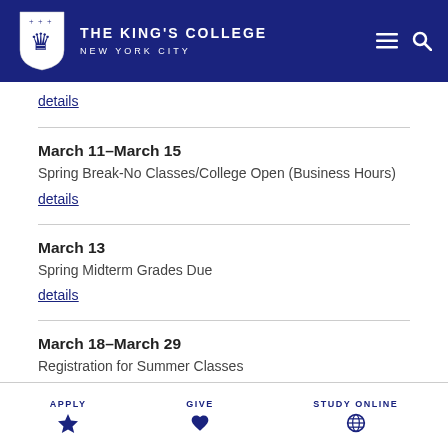The King's College New York City
details
March 11–March 15
Spring Break-No Classes/College Open (Business Hours)
details
March 13
Spring Midterm Grades Due
details
March 18–March 29
Registration for Summer Classes
details
APPLY   GIVE   STUDY ONLINE